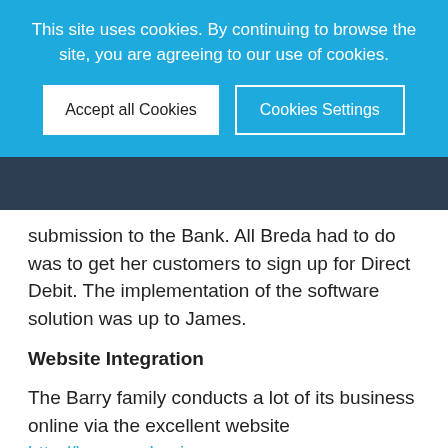This site uses cookies. By continuing to browse the site, you are agreeing to our use of cookies.
Accept all Cookies
Cookies Settings
submission to the Bank. All Breda had to do was to get her customers to sign up for Direct Debit. The implementation of the software solution was up to James.
Website Integration
The Barry family conducts a lot of its business online via the excellent website http://barrypackaging.com.